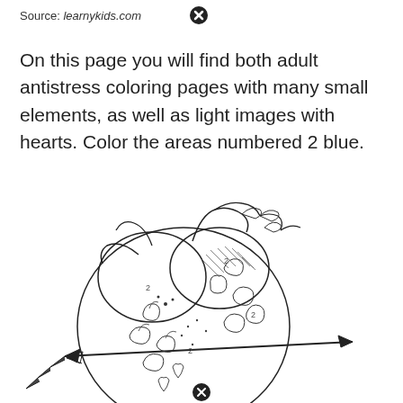Source: learnykids.com
On this page you will find both adult antistress coloring pages with many small elements, as well as light images with hearts. Color the areas numbered 2 blue.
[Figure (illustration): Detailed antistress coloring page illustration of an anatomical heart decorated with intricate patterns, swirls, and small elements. An arrow pierces through the heart. The image is in black and white line-art style for coloring. A close button (X in circle) appears near the bottom center of the image.]